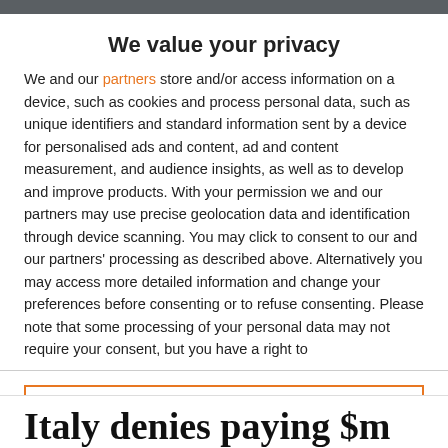We value your privacy
We and our partners store and/or access information on a device, such as cookies and process personal data, such as unique identifiers and standard information sent by a device for personalised ads and content, ad and content measurement, and audience insights, as well as to develop and improve products. With your permission we and our partners may use precise geolocation data and identification through device scanning. You may click to consent to our and our partners' processing as described above. Alternatively you may access more detailed information and change your preferences before consenting or to refuse consenting. Please note that some processing of your personal data may not require your consent, but you have a right to
ACCEPT
MORE OPTIONS
Italy denies paying $m